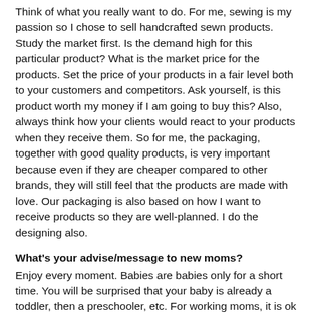Think of what you really want to do.  For me, sewing is my passion so I chose to sell handcrafted sewn products. Study the market first. Is the demand high for this particular product? What is the market price for the products. Set the price of your products in a fair level both to your customers and competitors.  Ask yourself, is this product worth my money if I am going to buy this?  Also, always think how your clients would react to your products when they receive them.  So for me, the packaging, together with good quality products, is very important because even if they are cheaper compared to other brands, they will still feel that the products are made with love. Our packaging is also based on how I want to receive products so they are well-planned. I do the designing also.
What's your advise/message to new moms?
Enjoy every moment. Babies are babies only for a short time. You will be surprised that your baby is already a toddler, then a preschooler, etc.  For working moms, it is ok to miss some milestones especially if they happened while